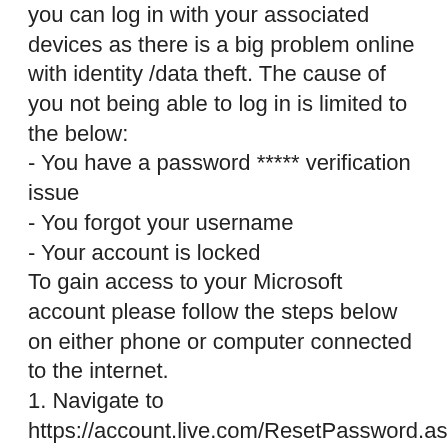you can log in with your associated devices as there is a big problem online with identity /data theft. The cause of you not being able to log in is limited to the below:
- You have a password ***** verification issue
- You forgot your username
- Your account is locked
To gain access to your Microsoft account please follow the steps below on either phone or computer connected to the internet.
1. Navigate to https://account.live.com/ResetPassword.aspx and enter the username that you want to reset the password *****
2. You will then be asked to verify your ID, please click the method that you would like to use to do this, it will be shown onscreen. For example, it may list a mobile number or an email account. Click the method that you have access to. From here Microsoft will send a verification code and you will either have to logon to that mailbox or your phone via SMS to retrieve it. Once you have the code, enter it in the box...